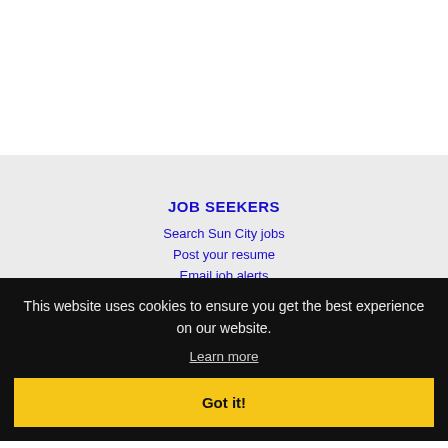JOB SEEKERS
Search Sun City jobs
Post your resume
Email job alerts
Register / Log in
This website uses cookies to ensure you get the best experience on our website.
Learn more
Got it!